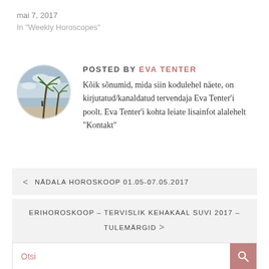mai 7, 2017
In "Weekly Horoscopes"
POSTED BY EVA TENTER
[Figure (photo): Circular avatar photo of a palm tree beach scene with cloudy sky]
Kõik sõnumid, mida siin kodulehel näete, on kirjutatud/kanaldatud tervendaja Eva Tenter'i poolt. Eva Tenter'i kohta leiate lisainfot alalehelt "Kontakt"
< NÄDALA HOROSKOOP 01.05-07.05.2017
ERIHOROSKOOP – TERVISLIK KEHAKAAL SUVI 2017 – TULEMÄRGID >
Otsi